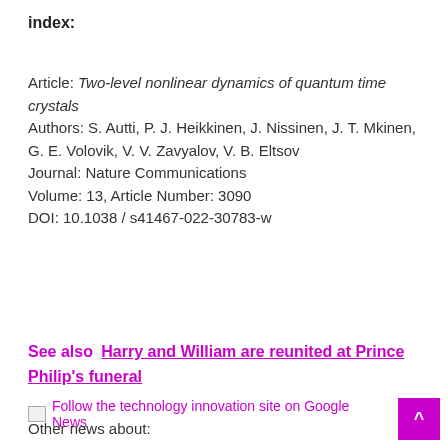index:
Article: Two-level nonlinear dynamics of quantum time crystals
Authors: S. Autti, P. J. Heikkinen, J. Nissinen, J. T. Mkinen, G. E. Volovik, V. V. Zavyalov, V. B. Eltsov
Journal: Nature Communications
Volume: 13, Article Number: 3090
DOI: 10.1038 / s41467-022-30783-w
See also  Harry and William are reunited at Prince Philip's funeral
Follow the technology innovation site on Google News
Other news about: